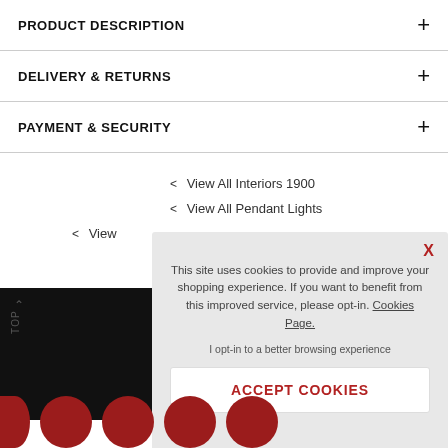PRODUCT DESCRIPTION
DELIVERY & RETURNS
PAYMENT & SECURITY
< View All Interiors 1900
< View All Pendant Lights
< View
This site uses cookies to provide and improve your shopping experience. If you want to benefit from this improved service, please opt-in. Cookies Page.
I opt-in to a better browsing experience
ACCEPT COOKIES